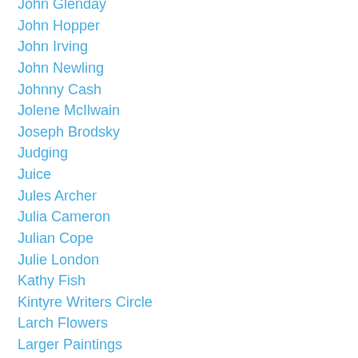John Glenday
John Hopper
John Irving
John Newling
Johnny Cash
Jolene McIlwain
Joseph Brodsky
Judging
Juice
Jules Archer
Julia Cameron
Julian Cope
Julie London
Kathy Fish
Kintyre Writers Circle
Larch Flowers
Larger Paintings
Libraries
Lightening Strike
Likers